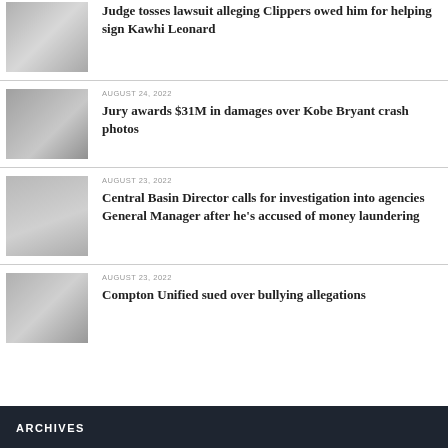[Figure (photo): Thumbnail image for Clippers/Kawhi Leonard lawsuit article]
Judge tosses lawsuit alleging Clippers owed him for helping sign Kawhi Leonard
[Figure (photo): Thumbnail image for Kobe Bryant crash photos article]
AUGUST 24, 2022
Jury awards $31M in damages over Kobe Bryant crash photos
[Figure (photo): Thumbnail image for Central Basin Director article]
AUGUST 23, 2022
Central Basin Director calls for investigation into agencies General Manager after he’s accused of money laundering
[Figure (photo): Thumbnail image for Compton Unified bullying article]
AUGUST 23, 2022
Compton Unified sued over bullying allegations
ARCHIVES